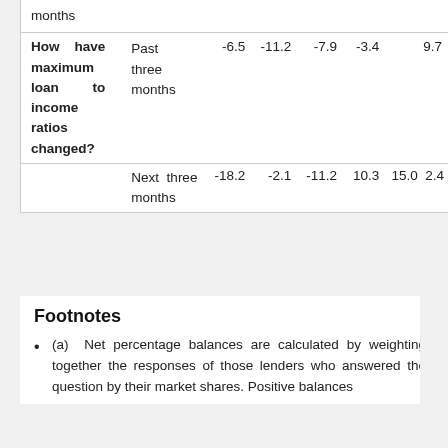| Question | Timeframe | Col1 | Col2 | Col3 | Col4 | Col5 |
| --- | --- | --- | --- | --- | --- | --- |
| months |  |  |  |  |  |  |
| How have maximum loan to income ratios changed? | Past three months | -6.5 | -11.2 | -7.9 | -3.4 | 9.7 |
|  | Next three months | -18.2 | -2.1 | -11.2 | 10.3 | 15.0 | 2.4 |
Footnotes
(a) Net percentage balances are calculated by weighting together the responses of those lenders who answered the question by their market shares. Positive balances